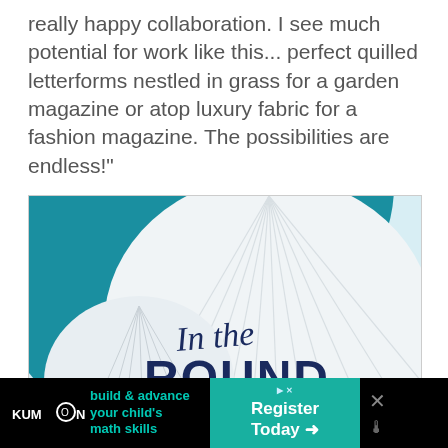really happy collaboration. I see much potential for work like this... perfect quilled letterforms nestled in grass for a garden magazine or atop luxury fabric for a fashion magazine. The possibilities are endless!"
[Figure (photo): Photo of white quilted/pleated circular paper art forms against a teal/blue background, with text overlay reading 'In the ROUND' in dark navy typography - script font for 'In the' and bold sans-serif for 'ROUND']
[Figure (infographic): Kumon advertisement banner on black background: Kumon logo on left, teal text 'build & advance your child's math skills', teal Register Today button with arrow, and close/weather icons on right]